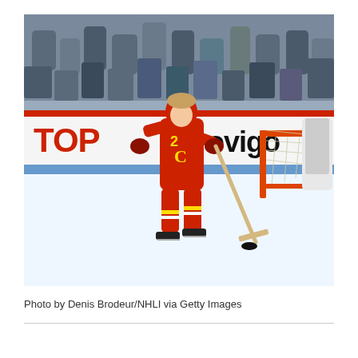[Figure (photo): A Calgary Flames NHL hockey player wearing a red uniform with number 2, skating on ice near the goal net during a game. Crowd visible in background behind glass. Rinkside boards show 'TOP' in red letters and 'provigo' in black letters. Player is in a skating stance holding a hockey stick with a puck nearby.]
Photo by Denis Brodeur/NHLI via Getty Images